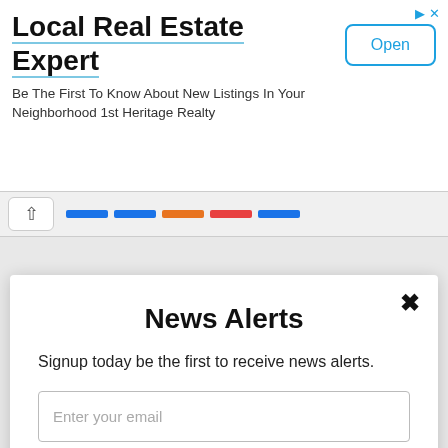[Figure (screenshot): Advertisement banner for '1st Heritage Realty' - Local Real Estate Expert with an Open button]
Local Real Estate Expert
Be The First To Know About New Listings In Your Neighborhood 1st Heritage Realty
News Alerts
Signup today be the first to receive news alerts.
Enter your email
Check Box
I Donated
Subscribe
powered by MailMunch